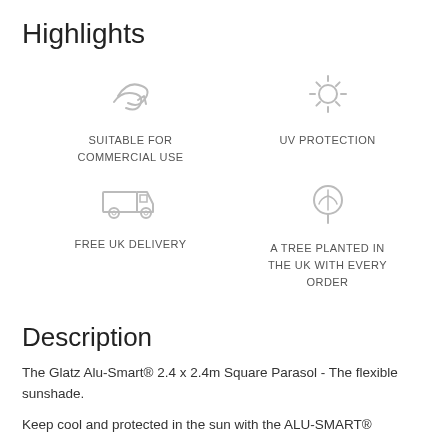Highlights
[Figure (illustration): Four icons in a 2x2 grid: (1) wind/flexibility icon with label SUITABLE FOR COMMERCIAL USE, (2) sun icon with label UV PROTECTION, (3) delivery truck icon with label FREE UK DELIVERY, (4) tree icon with label A TREE PLANTED IN THE UK WITH EVERY ORDER]
Description
The Glatz Alu-Smart® 2.4 x 2.4m Square Parasol - The flexible sunshade.
Keep cool and protected in the sun with the ALU-SMART®